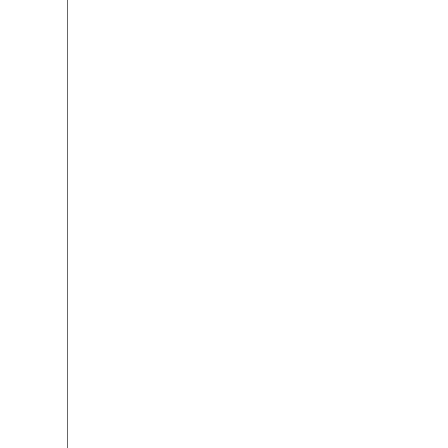background of a header, footer or page under. For > Page the graph will display when you save in Word form. Currently from